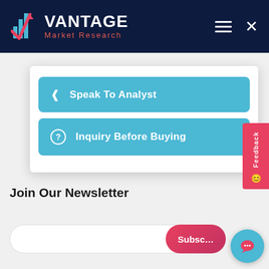Vantage Market Research
Speak To Analyst
Inquiry Before Buying
Join Our Newsletter
Subscribe